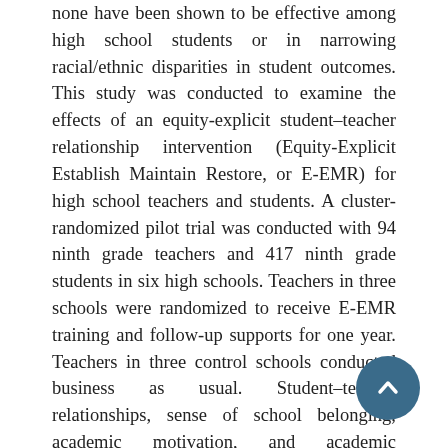none have been shown to be effective among high school students or in narrowing racial/ethnic disparities in student outcomes. This study was conducted to examine the effects of an equity-explicit student–teacher relationship intervention (Equity-Explicit Establish Maintain Restore, or E-EMR) for high school teachers and students. A cluster-randomized pilot trial was conducted with 94 ninth grade teachers and 417 ninth grade students in six high schools. Teachers in three schools were randomized to receive E-EMR training and follow-up supports for one year. Teachers in three control schools conducted business as usual. Student–teacher relationships, sense of school belonging, academic motivation, and academic engagement were collected via student self-report in September and January of their ninth-grade year. Longitudinal models revealed non-significant main effects of E-EMR. However, there were targeted benefits for students who started with low scores at baseline, for Asian, Latinx, multicultural, and (to a lesser extent) Black students. We also found some unexpected effects, where high-performing and/or advantaged groups in the E-EMR condition had less favorable outcomes at post, compared to those in the control group, which may be a result of the equity-explicit focus of E-EMR. Implications and directions for future research are discussed.